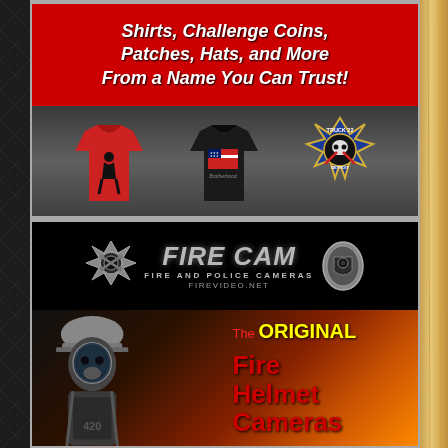[Figure (advertisement): Top advertisement banner with red background showing 'Shirts, Challenge Coins, Patches, Hats, and More From a Name You Can Trust!' in bold italic white text, below which is a dark section showing a red t-shirt with firefighter graphic, a black t-shirt with American flag Brotherhood graphic, and a Truck 22 Detroit firefighter patch/badge.]
[Figure (advertisement): Bottom advertisement for Fire Cam - Fire and Police Cameras, with website firevideo.net. Black background with chrome/silver Fire Cam logo, maltese cross emblem and police badge. Below shows a firefighter in full gear and SCBA mask against fiery orange background with text 'The ORIGINAL Fire Helmet Cameras' in red and yellow.]